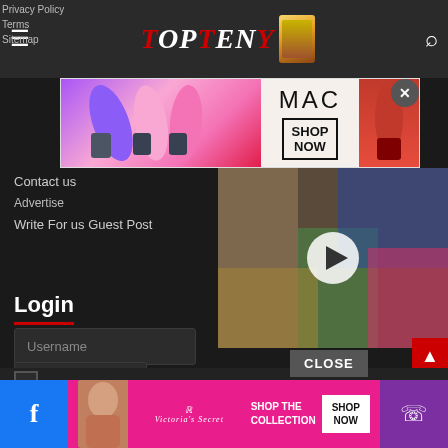Privacy Policy
Terms
Sitemap
[Figure (logo): TopTeny website logo with red and white stylized text and a magazine image]
Contact us
[Figure (photo): MAC cosmetics advertisement showing colorful lipsticks with SHOP NOW button]
Advertise
Write For us Guest Post
Login
[Figure (photo): Video player with colorful graffiti/art background and play button]
Username
Password
Forget?
Remember me
[Figure (photo): Victoria's Secret advertisement with model and SHOP THE COLLECTION / SHOP NOW button]
Facebook | Phone